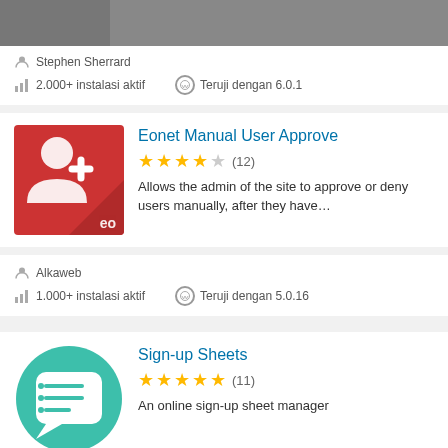[Figure (photo): Partial plugin thumbnail image cropped at top]
Stephen Sherrard
2.000+ instalasi aktif    Teruji dengan 6.0.1
[Figure (illustration): Eonet Manual User Approve plugin icon - red background with white person silhouette and plus sign, 'eo' text in bottom right]
Eonet Manual User Approve
★★★★☆ (12)
Allows the admin of the site to approve or deny users manually, after they have…
Alkaweb
1.000+ instalasi aktif    Teruji dengan 5.0.16
[Figure (illustration): Sign-up Sheets plugin icon - teal circle with white chat bubble and list lines]
Sign-up Sheets
★★★★★ (11)
An online sign-up sheet manager